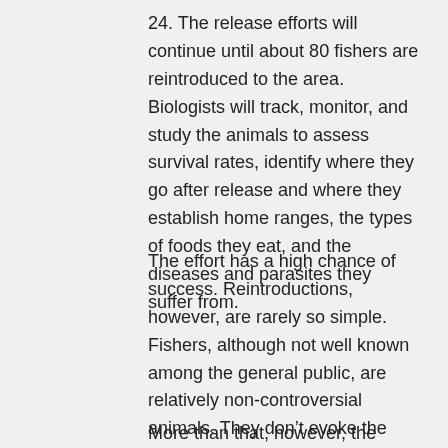24. The release efforts will continue until about 80 fishers are reintroduced to the area. Biologists will track, monitor, and study the animals to assess survival rates, identify where they go after release and where they establish home ranges, the types of foods they eat, and the diseases and parasites they suffer from.
The effort has a high chance of success. Reintroductions, however, are rarely so simple. Fishers, although not well known among the general public, are relatively non-controversial animals. They don’t evoke the same emotional reactions in people as grizzly bears or wolves, for example.
More than that, however, the forested habitats